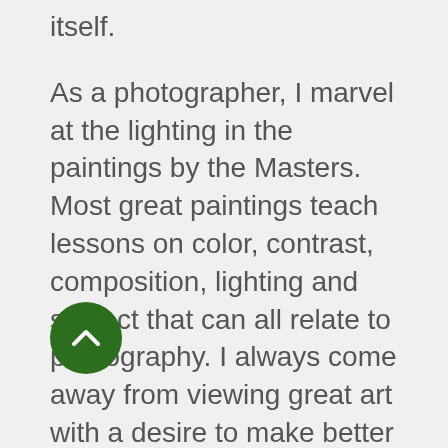itself.
As a photographer, I marvel at the lighting in the paintings by the Masters. Most great paintings teach lessons on color, contrast, composition, lighting and subject that can all relate to photography. I always come away from viewing great art with a desire to make better photographs.
Later, after having finished with our tour of the Uffizi, we returned to the hotel, cleaned up and then had an early
[Figure (other): Dark green circular scroll-up button with a white chevron/arrow pointing upward, positioned in the lower left of the page overlapping the text.]